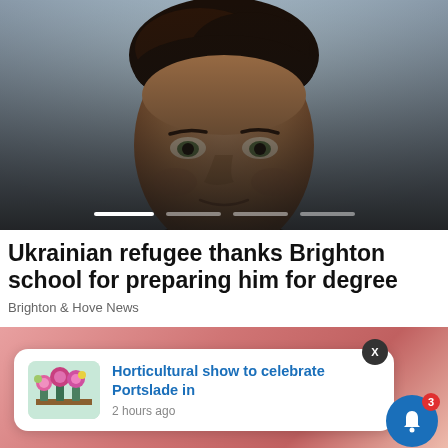[Figure (photo): Close-up portrait photo of a young man with dark curly hair against a grey background, with image carousel slide indicators at the bottom]
Ukrainian refugee thanks Brighton school for preparing him for degree
Brighton & Hove News
[Figure (screenshot): A push notification popup overlaid on a second article image (person in pink top). The notification shows a horticultural show thumbnail and text 'Horticultural show to celebrate Portslade in' with '2 hours ago'. There is an X close button and a blue bell icon with a red badge showing 3.]